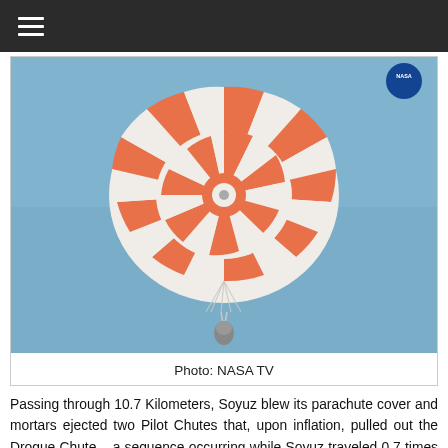≡
[Figure (photo): Soyuz spacecraft descending under a large orange and white striped parachute against a blue sky. NASA TV watermark visible in top right corner.]
Photo: NASA TV
Passing through 10.7 Kilometers, Soyuz blew its parachute cover and mortars ejected two Pilot Chutes that, upon inflation, pulled out the Drogue Chute – a sequence occurring while Soyuz traveled 0.7 times the speed of sound. For the crew, parachute deployment is one of the most violent events